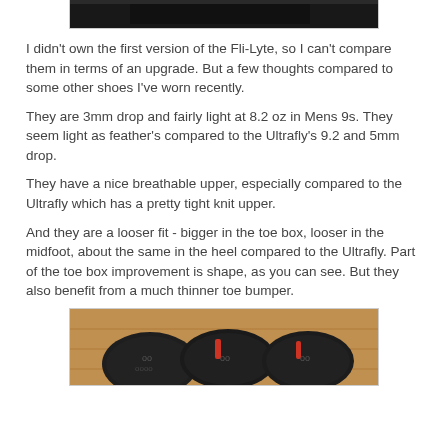[Figure (photo): Bottom edge of a dark shoe photo, cropped at top of page]
I didn't own the first version of the Fli-Lyte, so I can't compare them in terms of an upgrade. But a few thoughts compared to some other shoes I've worn recently.
They are 3mm drop and fairly light at 8.2 oz in Mens 9s. They seem light as feather's compared to the Ultrafly's 9.2 and 5mm drop.
They have a nice breathable upper, especially compared to the Ultrafly which has a pretty tight knit upper.
And they are a looser fit - bigger in the toe box, looser in the midfoot, about the same in the heel compared to the Ultrafly. Part of the toe box improvement is shape, as you can see. But they also benefit from a much thinner toe bumper.
[Figure (photo): Photo of multiple running shoes side by side showing toe boxes, dark shoes with red accents on a wooden surface]